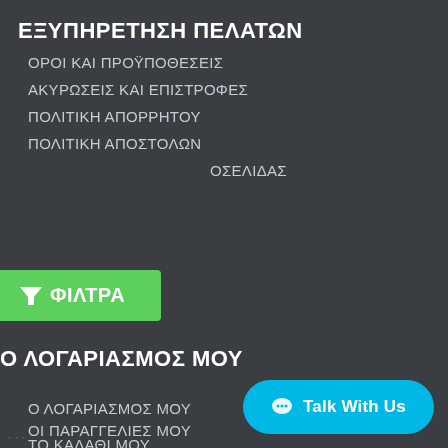ΕΞΥΠΗΡΕΤΗΣΗ ΠΕΛΑΤΩΝ
ΟΡΟΙ ΚΑΙ ΠΡΟΫΠΟΘΕΣΕΙΣ
ΑΚΥΡΩΣΕΙΣ ΚΑΙ ΕΠΙΣΤΡΟΦΕΣ
ΠΟΛΙΤΙΚΗ ΑΠΟΡΡΗΤΟΥ
ΠΟΛΙΤΙΚΗ ΑΠΟΣΤΟΛΩΝ
ΟΣΕΛΙΔΑΣ
[Figure (screenshot): Green filter button with funnel icon and text ΦΙΛΤΡΑ]
Ο ΛΟΓΑΡΙΑΣΜΟΣ ΜΟΥ
Ο ΛΟΓΑΡΙΑΣΜΟΣ ΜΟΥ
ΟΙ ΠΑΡΑΓΓΕΛΙΕΣ ΜΟΥ
ΤΟ ΚΑΛΑΘΙ ΜΟΥ
[Figure (screenshot): Cyan Talk With Us chat button]